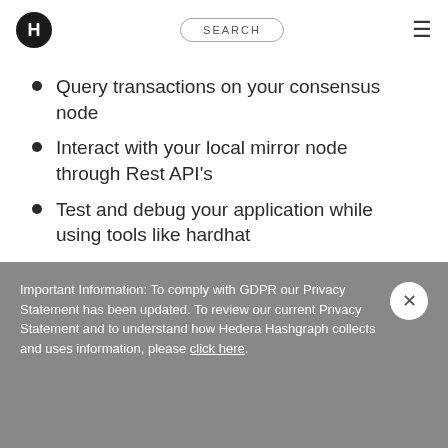H | SEARCH | ≡
Query transactions on your consensus node
Interact with your local mirror node through Rest API's
Test and debug your application while using tools like hardhat
Why Should I Set Up
Important Information: To comply with GDPR our Privacy Statement has been updated. To review our current Privacy Statement and to understand how Hedera Hashgraph collects and uses information, please click here.